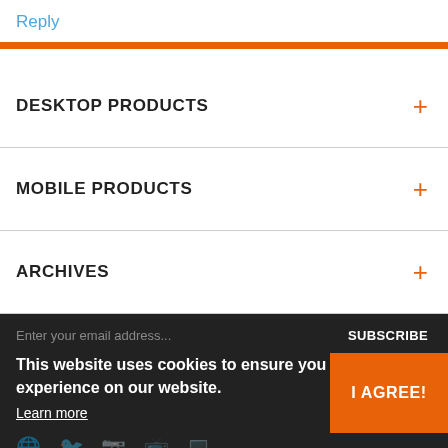Reply
DESKTOP PRODUCTS
MOBILE PRODUCTS
ARCHIVES
Enter your email address...
SUBSCRIBE
This website uses cookies to ensure you get the best experience on our website.
Learn more
I AGREE!